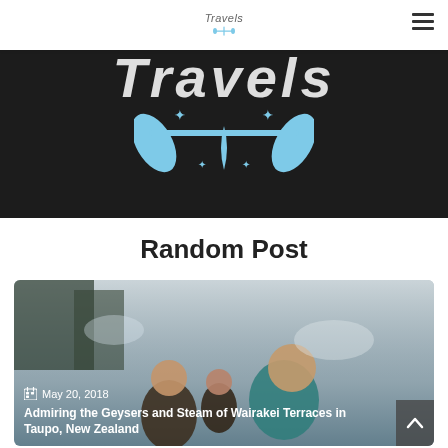Travels (logo with paddles)
[Figure (logo): Large 'Travels' text logo with light blue stylized paddle/kayak icon on dark background, sparkle stars decorating the icon]
Random Post
[Figure (photo): A family photo of three people (two adults and a child) in a misty, steamy outdoor environment, likely Wairakei Terraces in Taupo, New Zealand]
May 20, 2018
Admiring the Geysers and Steam of Wairakei Terraces in Taupo, New Zealand